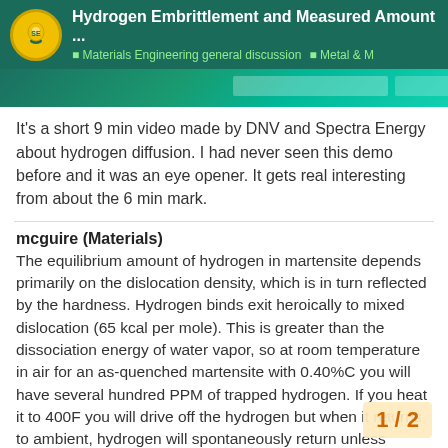Hydrogen Embrittlement and Measured Amount ... | Materials Engineering general discussion | Metal & M
[Figure (screenshot): Screenshot thumbnail of a video about hydrogen diffusion, green/teal background with overlaid UI elements]
It's a short 9 min video made by DNV and Spectra Energy about hydrogen diffusion. I had never seen this demo before and it was an eye opener. It gets real interesting from about the 6 min mark.
mcguire (Materials)
The equilibrium amount of hydrogen in martensite depends primarily on the dislocation density, which is in turn reflected by the hardness. Hydrogen binds exit heroically to mixed dislocation (65 kcal per mole). This is greater than the dissociation energy of water vapor, so at room temperature in air for an as-quenched martensite with 0.40%C you will have several hundred PPM of trapped hydrogen. If you heat it to 400F you will drive off the hydrogen but when it returns to ambient, hydrogen will spontaneously return unless blocked by a impervious coating.
What is generally considered the hydrogen
1 / 2